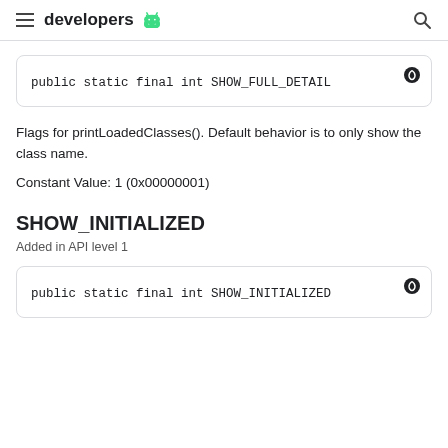developers
public static final int SHOW_FULL_DETAIL
Flags for printLoadedClasses(). Default behavior is to only show the class name.
Constant Value: 1 (0x00000001)
SHOW_INITIALIZED
Added in API level 1
public static final int SHOW_INITIALIZED